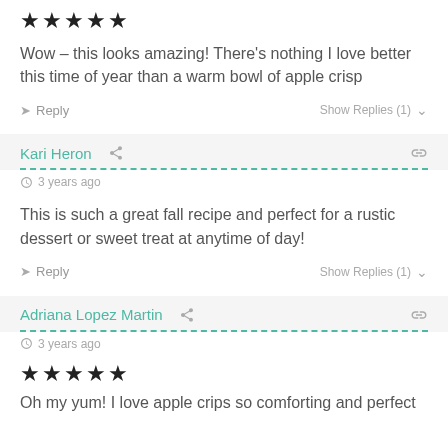★★★★★
Wow – this looks amazing! There's nothing I love better this time of year than a warm bowl of apple crisp
Reply   Show Replies (1)
Kari Heron
3 years ago
This is such a great fall recipe and perfect for a rustic dessert or sweet treat at anytime of day!
Reply   Show Replies (1)
Adriana Lopez Martin
3 years ago
★★★★★
Oh my yum! I love apple crips so comforting and perfect